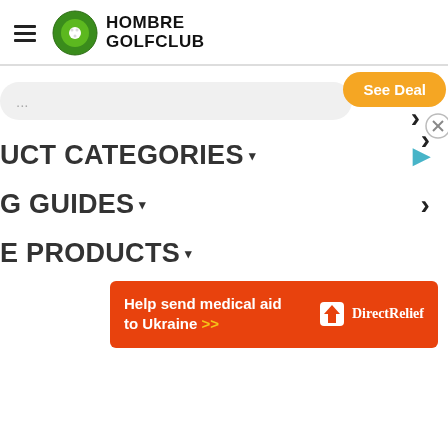[Figure (logo): Hombre Golfclub logo with green circle golf ball icon and bold text HOMBRE GOLFCLUB]
[Figure (screenshot): Search bar with rounded rectangle input and orange See Deal button, with close X circle button]
UCT CATEGORIES ▾
G GUIDES ▾
E PRODUCTS ▾
[Figure (infographic): Orange ad banner: Help send medical aid to Ukraine >> with Direct Relief logo on right]